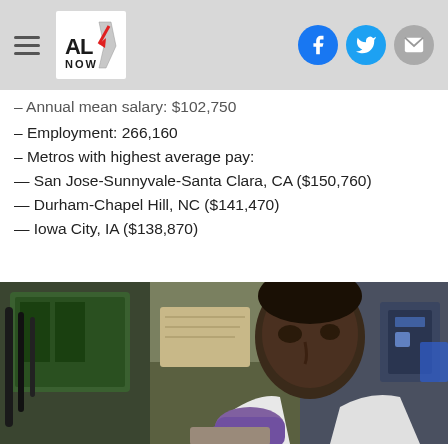AL NOW – navigation header with social icons
– Annual mean salary: $102,750
– Employment: 266,160
– Metros with highest average pay:
— San Jose-Sunnyvale-Santa Clara, CA ($150,760)
— Durham-Chapel Hill, NC ($141,470)
— Iowa City, IA ($138,870)
[Figure (photo): A young Black man in a white lab coat and purple gloves working in a laboratory setting with green equipment in the background]